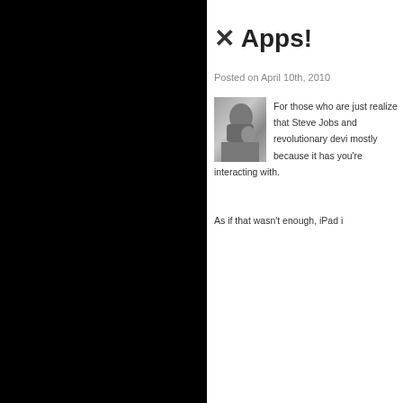✕ Apps!
Posted on April 10th, 2010
[Figure (photo): Black and white photo of a person holding something up to their face]
For those who are just realize that Steve Jobs and revolutionary devi mostly because it has you're interacting with.
As if that wasn't enough, iPad i